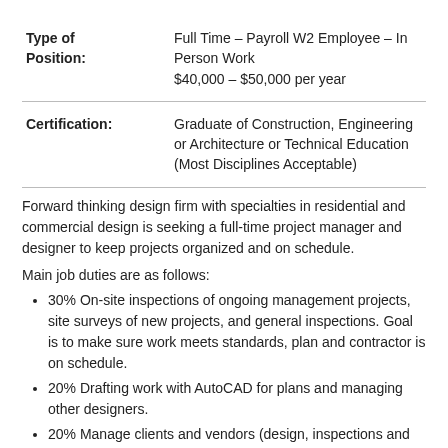| Type of Position: | Full Time – Payroll W2 Employee – In Person Work
$40,000 – $50,000 per year |
| Certification: | Graduate of Construction, Engineering or Architecture or Technical Education (Most Disciplines Acceptable) |
Forward thinking design firm with specialties in residential and commercial design is seeking a full-time project manager and designer to keep projects organized and on schedule.
Main job duties are as follows:
30% On-site inspections of ongoing management projects, site surveys of new projects, and general inspections. Goal is to make sure work meets standards, plan and contractor is on schedule.
20% Drafting work with AutoCAD for plans and managing other designers.
20% Manage clients and vendors (design, inspections and construction management).